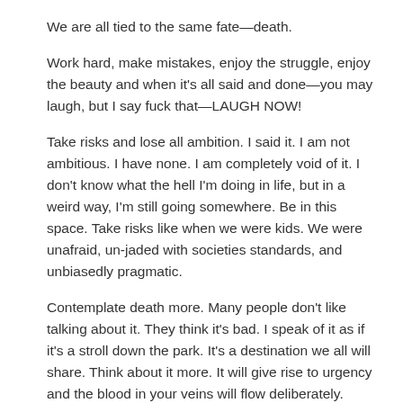We are all tied to the same fate—death.
Work hard, make mistakes, enjoy the struggle, enjoy the beauty and when it's all said and done—you may laugh, but I say fuck that—LAUGH NOW!
Take risks and lose all ambition. I said it. I am not ambitious. I have none. I am completely void of it. I don't know what the hell I'm doing in life, but in a weird way, I'm still going somewhere. Be in this space. Take risks like when we were kids. We were unafraid, un-jaded with societies standards, and unbiasedly pragmatic.
Contemplate death more. Many people don't like talking about it. They think it's bad. I speak of it as if it's a stroll down the park. It's a destination we all will share. Think about it more. It will give rise to urgency and the blood in your veins will flow deliberately.